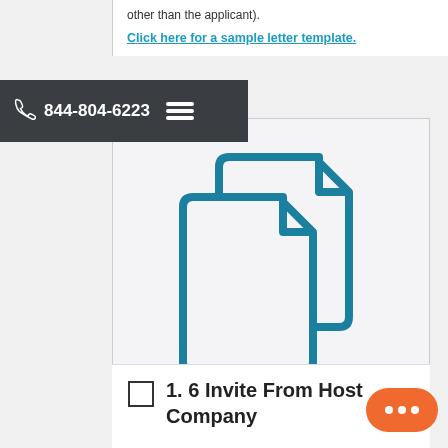other than the applicant).
Click here for a sample letter template.
844-804-6223
[Figure (illustration): Two overlapping document/file icons in teal/dark cyan color on a light grey background]
1. 6 Invite From Host Company